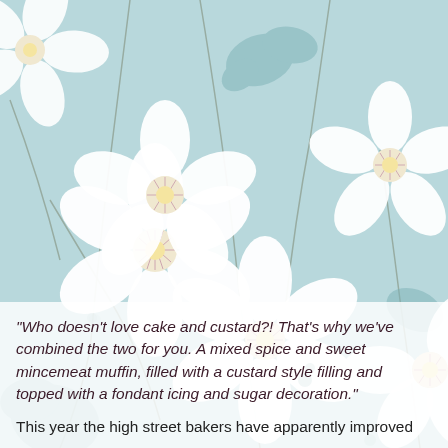[Figure (illustration): Light blue floral background with large white anemone flowers with pink-tipped stamens and yellow centers, and soft teal leaf silhouettes. The flowers are scattered across the entire background in a decorative pattern.]
"Who doesn't love cake and custard?! That's why we've combined the two for you. A mixed spice and sweet mincemeat muffin, filled with a custard style filling and topped with a fondant icing and sugar decoration."
This year the high street bakers have apparently improved